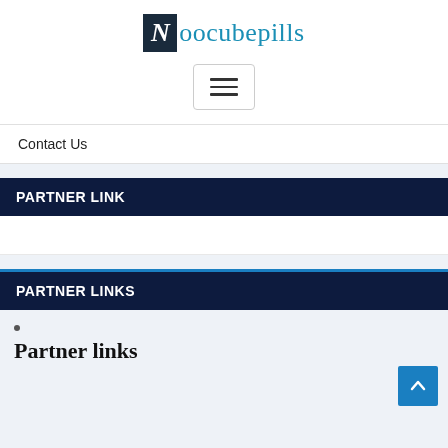[Figure (logo): Noocubepills logo with a dark blue box containing a white italic N, followed by the text 'Noocubepills' in teal/blue serif font]
[Figure (other): Hamburger menu button (three horizontal lines) inside a rounded rectangle border]
Contact Us
PARTNER LINK
PARTNER LINKS
•
Partner links